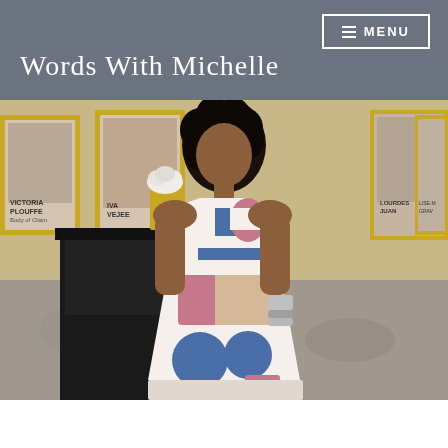MENU
Words With Michelle
[Figure (photo): A woman wearing a white halter dress with colorful geometric shapes (blue rectangles, pink circles, blue circles, peach rectangles) stands in an elegant room with gold-framed portrait photographs on the walls and a black display table with white flowers. She has curly black hair and silver bracelets.]